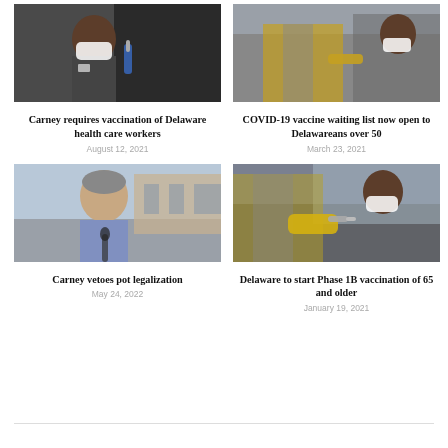[Figure (photo): Healthcare worker receiving COVID vaccine injection, wearing mask and scrubs]
Carney requires vaccination of Delaware health care workers
August 12, 2021
[Figure (photo): Person in yellow and gray patterned clothing receiving vaccine at drive-through site]
COVID-19 vaccine waiting list now open to Delawareans over 50
March 23, 2021
[Figure (photo): Governor Carney speaking outdoors, gray hair, light blue shirt]
Carney vetoes pot legalization
May 24, 2022
[Figure (photo): Medical worker in yellow gloves administering vaccine through car window at drive-through site]
Delaware to start Phase 1B vaccination of 65 and older
January 19, 2021